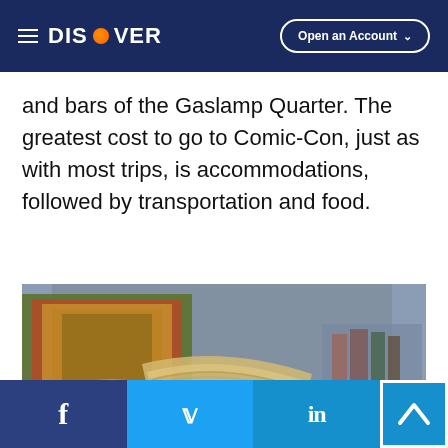DISCOVER | Open an Account
and bars of the Gaslamp Quarter. The greatest cost to go to Comic-Con, just as with most trips, is accommodations, followed by transportation and food.
[Figure (photo): Person holding a stack of comic books, browsing through them at what appears to be a comic book store or convention]
Facebook | Twitter | LinkedIn | Back to top